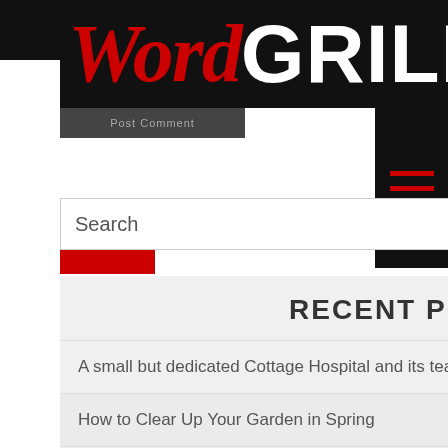[Figure (logo): WordGrill website logo: 'Word' in red italic serif font and 'GRILL' in white bold sans-serif font on black background]
Post Comment
[Figure (other): Hamburger menu icon with three red horizontal lines on black background]
Search
RECENT POSTS
A small but dedicated Cottage Hospital and its team of doctors and nurses
How to Clear Up Your Garden in Spring
A king of the television screen
Signs That There's Water Damage in Your Loft